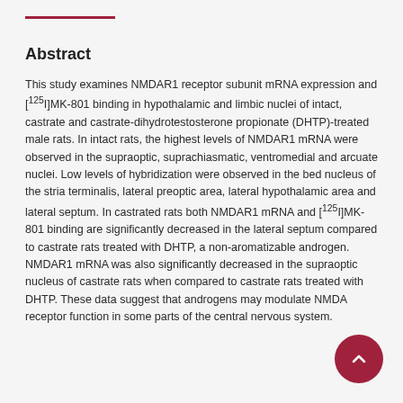Abstract
This study examines NMDAR1 receptor subunit mRNA expression and [125I]MK-801 binding in hypothalamic and limbic nuclei of intact, castrate and castrate-dihydrotestosterone propionate (DHTP)-treated male rats. In intact rats, the highest levels of NMDAR1 mRNA were observed in the supraoptic, suprachiasmatic, ventromedial and arcuate nuclei. Low levels of hybridization were observed in the bed nucleus of the stria terminalis, lateral preoptic area, lateral hypothalamic area and lateral septum. In castrated rats both NMDAR1 mRNA and [125I]MK-801 binding are significantly decreased in the lateral septum compared to castrate rats treated with DHTP, a non-aromatizable androgen. NMDAR1 mRNA was also significantly decreased in the supraoptic nucleus of castrate rats when compared to castrate rats treated with DHTP. These data suggest that androgens may modulate NMDA receptor function in some parts of the central nervous system.